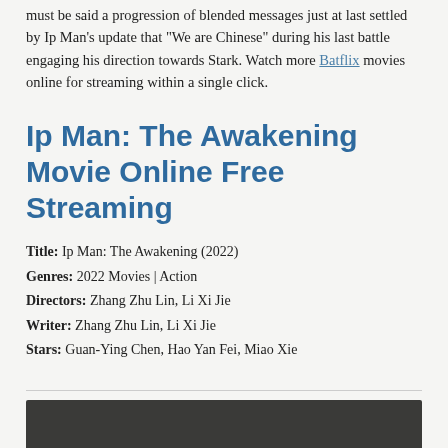must be said a progression of blended messages just at last settled by Ip Man's update that "We are Chinese" during his last battle engaging his direction towards Stark. Watch more Batflix movies online for streaming within a single click.
Ip Man: The Awakening Movie Online Free Streaming
Title: Ip Man: The Awakening (2022)
Genres: 2022 Movies | Action
Directors: Zhang Zhu Lin, Li Xi Jie
Writer: Zhang Zhu Lin, Li Xi Jie
Stars: Guan-Ying Chen, Hao Yan Fei, Miao Xie
[Figure (screenshot): Dark video player embed area]